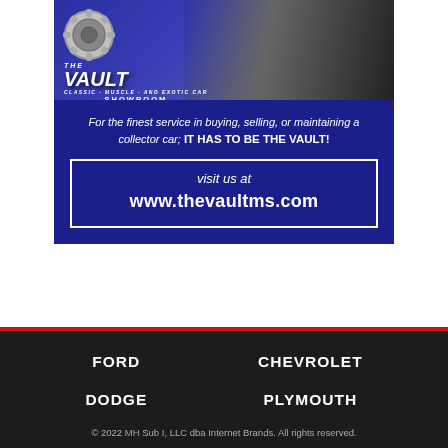[Figure (advertisement): The Vault Classic Muscle and Exotic Car Showroom advertisement with a dark blue background, vault gear logo, vintage cars photo, tagline text, and website URL]
For the finest service in buying, selling, or maintaining a collector car; IT HAS TO BE THE VAULT!
visit us at
www.thevaultms.com
FORD   CHEVROLET
DODGE   PLYMOUTH
© 2022 MH Sub I, LLC dba Internet Brands. All rights reserved.